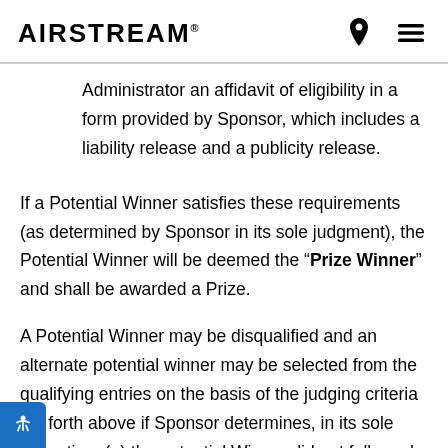AIRSTREAM
Administrator an affidavit of eligibility in a form provided by Sponsor, which includes a liability release and a publicity release.
If a Potential Winner satisfies these requirements (as determined by Sponsor in its sole judgment), the Potential Winner will be deemed the “Prize Winner” and shall be awarded a Prize.
A Potential Winner may be disqualified and an alternate potential winner may be selected from the qualifying entries on the basis of the judging criteria set forth above if Sponsor determines, in its sole discretion: (a) the potential Winner did not fully and accurately respond to